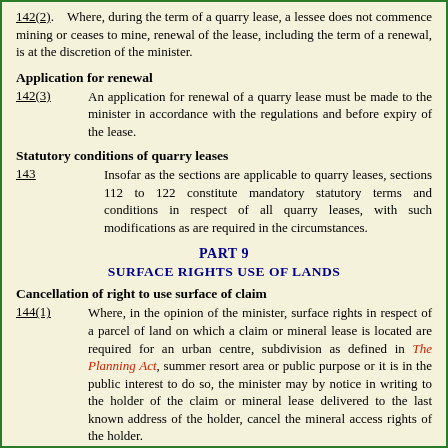142(2). Where, during the term of a quarry lease, a lessee does not commence mining or ceases to mine, renewal of the lease, including the term of a renewal, is at the discretion of the minister.
Application for renewal
142(3) An application for renewal of a quarry lease must be made to the minister in accordance with the regulations and before expiry of the lease.
Statutory conditions of quarry leases
143 Insofar as the sections are applicable to quarry leases, sections 112 to 122 constitute mandatory statutory terms and conditions in respect of all quarry leases, with such modifications as are required in the circumstances.
PART 9
SURFACE RIGHTS USE OF LANDS
Cancellation of right to use surface of claim
144(1) Where, in the opinion of the minister, surface rights in respect of a parcel of land on which a claim or mineral lease is located are required for an urban centre, subdivision as defined in The Planning Act, summer resort area or public purpose or it is in the public interest to do so, the minister may by notice in writing to the holder of the claim or mineral lease delivered to the last known address of the holder, cancel the mineral access rights of the holder.